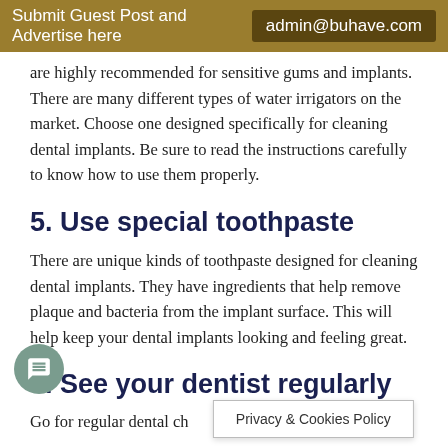Submit Guest Post and Advertise here   admin@buhave.com
are highly recommended for sensitive gums and implants. There are many different types of water irrigators on the market. Choose one designed specifically for cleaning dental implants. Be sure to read the instructions carefully to know how to use them properly.
5. Use special toothpaste
There are unique kinds of toothpaste designed for cleaning dental implants. They have ingredients that help remove plaque and bacteria from the implant surface. This will help keep your dental implants looking and feeling great.
6. See your dentist regularly
Go for regular dental ch… they will
Privacy & Cookies Policy